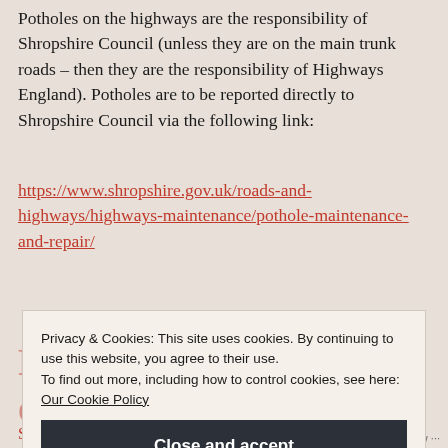Potholes on the highways are the responsibility of Shropshire Council (unless they are on the main trunk roads – then they are the responsibility of Highways England). Potholes are to be reported directly to Shropshire Council via the following link:
https://www.shropshire.gov.uk/roads-and-highways/highways-maintenance/pothole-maintenance-and-repair/
Privacy & Cookies: This site uses cookies. By continuing to use this website, you agree to their use. To find out more, including how to control cookies, see here: Our Cookie Policy
Close and accept